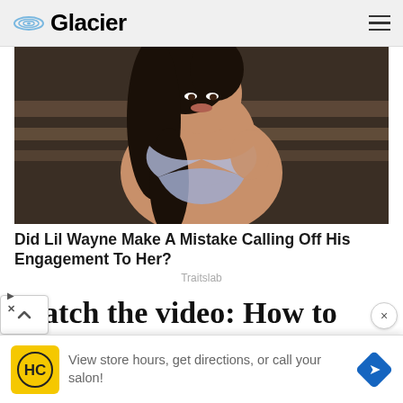Glacier
[Figure (photo): Woman with dark hair wearing a light blue bikini top, photographed outdoors near wooden structure]
Did Lil Wayne Make A Mistake Calling Off His Engagement To Her?
Traitslab
Watch the video: How to Make Banana Banana
View store hours, get directions, or call your salon!